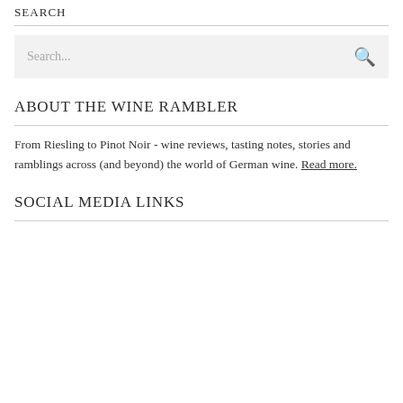SEARCH
Search...
ABOUT THE WINE RAMBLER
From Riesling to Pinot Noir - wine reviews, tasting notes, stories and ramblings across (and beyond) the world of German wine. Read more.
SOCIAL MEDIA LINKS